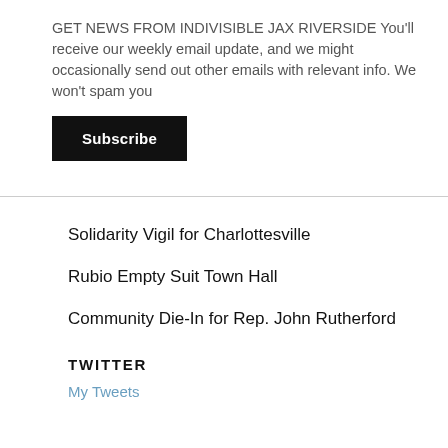GET NEWS FROM INDIVISIBLE JAX RIVERSIDE You'll receive our weekly email update, and we might occasionally send out other emails with relevant info. We won't spam you
Subscribe
Solidarity Vigil for Charlottesville
Rubio Empty Suit Town Hall
Community Die-In for Rep. John Rutherford
TWITTER
My Tweets